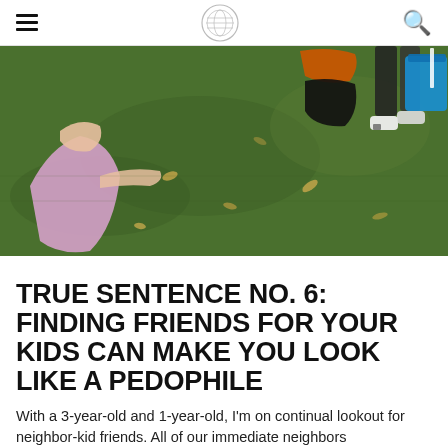[hamburger menu] [logo] [search]
[Figure (photo): Aerial/overhead view of children playing on green grass lawn, with leaves scattered. One child wearing a pink/purple dress visible on the left, another child in dark pants with orange top visible at top center, and a child's legs with white sneakers and a blue bucket visible at top right.]
TRUE SENTENCE NO. 6: FINDING FRIENDS FOR YOUR KIDS CAN MAKE YOU LOOK LIKE A PEDOPHILE
With a 3-year-old and 1-year-old, I'm on continual lookout for neighbor-kid friends. All of our immediate neighbors